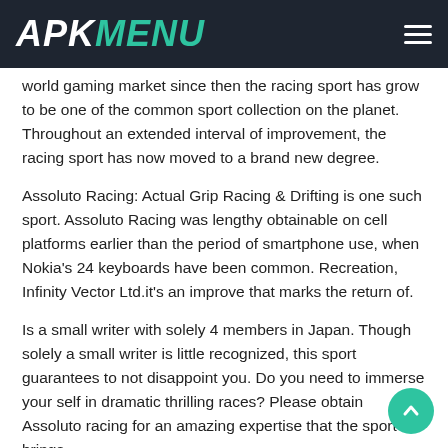APKMENU
world gaming market since then the racing sport has grow to be one of the common sport collection on the planet. Throughout an extended interval of improvement, the racing sport has now moved to a brand new degree.
Assoluto Racing: Actual Grip Racing & Drifting is one such sport. Assoluto Racing was lengthy obtainable on cell platforms earlier than the period of smartphone use, when Nokia's 24 keyboards have been common. Recreation, Infinity Vector Ltd.it's an improve that marks the return of.
Is a small writer with solely 4 members in Japan. Though solely a small writer is little recognized, this sport guarantees to not disappoint you. Do you need to immerse your self in dramatic thrilling races? Please obtain Assoluto racing for an amazing expertise that the sport brings.